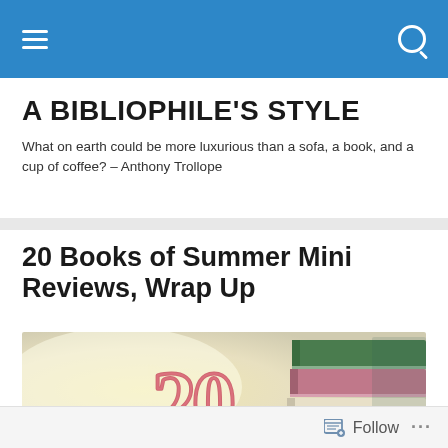A BIBLIOPHILE'S STYLE — navigation bar with hamburger menu and search icon
A BIBLIOPHILE'S STYLE
What on earth could be more luxurious than a sofa, a book, and a cup of coffee? – Anthony Trollope
20 Books of Summer Mini Reviews, Wrap Up
[Figure (photo): Decorative photo showing a large hand-drawn number '20' in pinkish-red chalk style on a warm light background, with a stack of books (green, pink, cream colored spines) on the right side.]
Follow ...